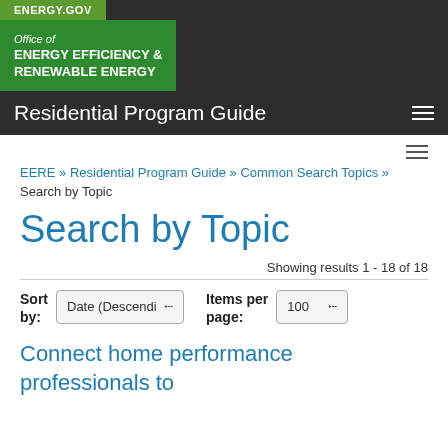ENERGY.GOV | Office of ENERGY EFFICIENCY & RENEWABLE ENERGY | Residential Program Guide
EERE » Residential Program Guide » Common Search Topics » Search by Topic
Search by Topic
Showing results 1 - 18 of 18
Sort by: Date (Descending)   Items per page: 100
Connect home performance professionals to